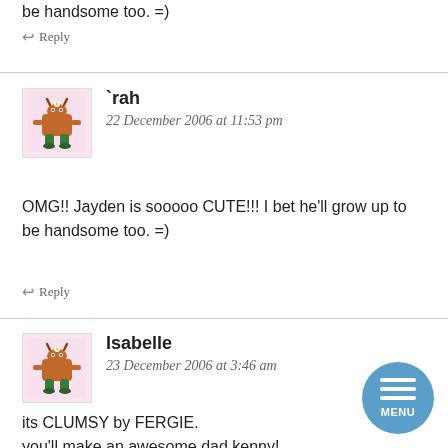be handsome too. =)
↩ Reply
`rah
22 December 2006 at 11:53 pm
OMG!! Jayden is sooooo CUTE!!! I bet he'll grow up to be handsome too. =)
↩ Reply
Isabelle
23 December 2006 at 3:46 am
its CLUMSY by FERGIE.
you'll make an awesome dad kenny!